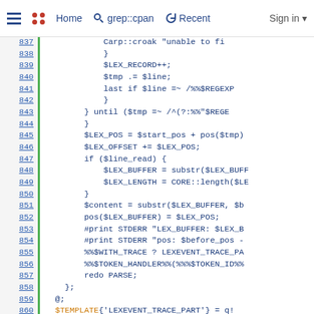Home  grep::cpan  Recent  Sign in
[Figure (screenshot): Source code viewer showing Perl code lines 837–862 with line numbers linked on the left, a green vertical separator, and code in blue monospace on white background. Lines include Carp::croak, $LEX_RECORD++, $tmp .= $line, last if $line =~, until ($tmp =~, $LEX_POS, $LEX_OFFSET, if ($line_read), $LEX_BUFFER, $LEX_LENGTH, $content, pos($LEX_BUFFER), #print STDERR lines, %%$WITH_TRACE, %%$TOKEN_HANDLER%%, redo PARSE, };, @;, $TEMPLATE{'LEXEVENT_TRACE_PART'} = q!, if ($self->[%%$TRACE%%]) {, my $tmp = '%%$REGEXP%%';]